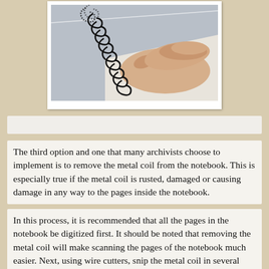[Figure (photo): A hand grasping and removing a black metal spiral coil binding from a notebook. The coil is being pulled from the edge of the notebook pages.]
The third option and one that many archivists choose to implement is to remove the metal coil from the notebook. This is especially true if the metal coil is rusted, damaged or causing damage in any way to the pages inside the notebook.
In this process, it is recommended that all the pages in the notebook be digitized first. It should be noted that removing the metal coil will make scanning the pages of the notebook much easier. Next, using wire cutters, snip the metal coil in several places along the length of the coiled metal. Slowly and carefully, remove each section of coiled wire. If the wire will